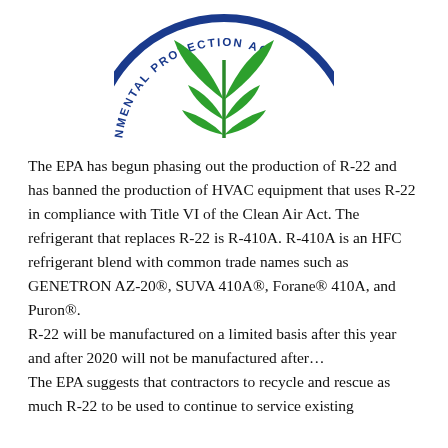[Figure (logo): EPA (Environmental Protection Agency) seal/logo — circular blue border with text 'ENVIRONMENTAL PROTECTION AG...' around the edge, with a green leaf/plant motif in the center on white background. Partially cropped at top.]
The EPA has begun phasing out the production of R-22 and has banned the production of HVAC equipment that uses R-22 in compliance with Title VI of the Clean Air Act. The refrigerant that replaces R-22 is R-410A. R-410A is an HFC refrigerant blend with common trade names such as GENETRON AZ-20®, SUVA 410A®, Forane® 410A, and Puron®.
R-22 will be manufactured on a limited basis after this year and after 2020 will not be manufactured after…
The EPA suggests that contractors to recycle and rescue as much R-22 to be used to continue to service existing